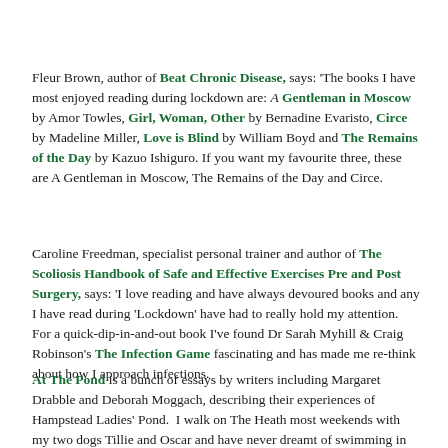Fleur Brown, author of Beat Chronic Disease, says: 'The books I have most enjoyed reading during lockdown are: A Gentleman in Moscow by Amor Towles, Girl, Woman, Other by Bernadine Evaristo, Circe by Madeline Miller, Love is Blind by William Boyd and The Remains of the Day by Kazuo Ishiguro. If you want my favourite three, these are A Gentleman in Moscow, The Remains of the Day and Circe.
Caroline Freedman, specialist personal trainer and author of The Scoliosis Handbook of Safe and Effective Exercises Pre and Post Surgery, says: 'I love reading and have always devoured books and any I have read during 'Lockdown' have had to really hold my attention. For a quick-dip-in-and-out book I've found Dr Sarah Myhill & Craig Robinson's The Infection Game fascinating and has made me re-think about how I approach infections.
At The Pond is a bunch of essays by writers including Margaret Drabble and Deborah Moggach, describing their experiences of Hampstead Ladies' Pond.  I walk on The Heath most weekends with my two dogs Tillie and Oscar and have never dreamt of swimming in the freezing cold outside. The trauma of having to emerge myself in